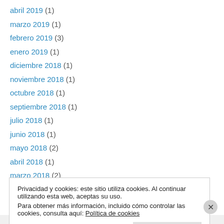abril 2019 (1)
marzo 2019 (1)
febrero 2019 (3)
enero 2019 (1)
diciembre 2018 (1)
noviembre 2018 (1)
octubre 2018 (1)
septiembre 2018 (1)
julio 2018 (1)
junio 2018 (1)
mayo 2018 (2)
abril 2018 (1)
marzo 2018 (2)
Privacidad y cookies: este sitio utiliza cookies. Al continuar utilizando esta web, aceptas su uso.
Para obtener más información, incluido cómo controlar las cookies, consulta aquí: Política de cookies
Infimás sobre este plugin...